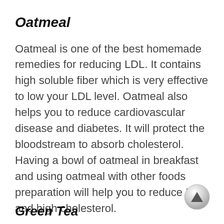Oatmeal
Oatmeal is one of the best homemade remedies for reducing LDL. It contains high soluble fiber which is very effective to low your LDL level. Oatmeal also helps you to reduce cardiovascular disease and diabetes. It will protect the bloodstream to absorb cholesterol. Having a bowl of oatmeal in breakfast and using oatmeal with other foods preparation will help you to reduce LDL and high cholesterol.
Green Tea